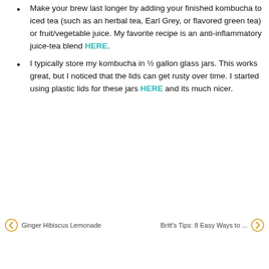Make your brew last longer by adding your finished kombucha to iced tea (such as an herbal tea, Earl Grey, or flavored green tea) or fruit/vegetable juice. My favorite recipe is an anti-inflammatory juice-tea blend HERE.
I typically store my kombucha in ½ gallon glass jars. This works great, but I noticed that the lids can get rusty over time. I started using plastic lids for these jars HERE and its much nicer.
Ginger Hibiscus Lemonade    Britt's Tips: 8 Easy Ways to ...